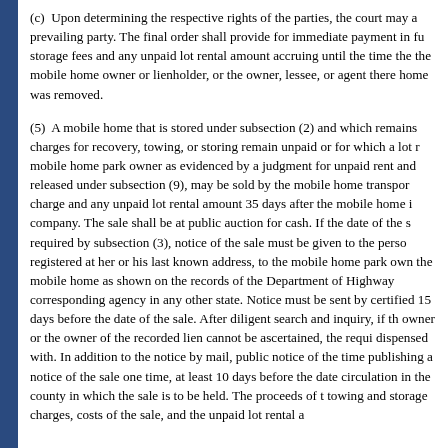(c)  Upon determining the respective rights of the parties, the court may a prevailing party. The final order shall provide for immediate payment in fu storage fees and any unpaid lot rental amount accruing until the time the the mobile home owner or lienholder, or the owner, lessee, or agent there home was removed.
(5)  A mobile home that is stored under subsection (2) and which remains charges for recovery, towing, or storing remain unpaid or for which a lot r mobile home park owner as evidenced by a judgment for unpaid rent and released under subsection (9), may be sold by the mobile home transpor charge and any unpaid lot rental amount 35 days after the mobile home i company. The sale shall be at public auction for cash. If the date of the s required by subsection (3), notice of the sale must be given to the perso registered at her or his last known address, to the mobile home park own the mobile home as shown on the records of the Department of Highway corresponding agency in any other state. Notice must be sent by certified 15 days before the date of the sale. After diligent search and inquiry, if th owner or the owner of the recorded lien cannot be ascertained, the requi dispensed with. In addition to the notice by mail, public notice of the time publishing a notice of the sale one time, at least 10 days before the date circulation in the county in which the sale is to be held. The proceeds of t towing and storage charges, costs of the sale, and the unpaid lot rental a